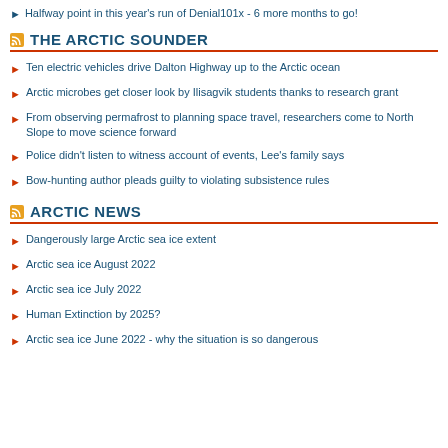Halfway point in this year's run of Denial101x - 6 more months to go!
THE ARCTIC SOUNDER
Ten electric vehicles drive Dalton Highway up to the Arctic ocean
Arctic microbes get closer look by Ilisagvik students thanks to research grant
From observing permafrost to planning space travel, researchers come to North Slope to move science forward
Police didn't listen to witness account of events, Lee's family says
Bow-hunting author pleads guilty to violating subsistence rules
ARCTIC NEWS
Dangerously large Arctic sea ice extent
Arctic sea ice August 2022
Arctic sea ice July 2022
Human Extinction by 2025?
Arctic sea ice June 2022 - why the situation is so dangerous